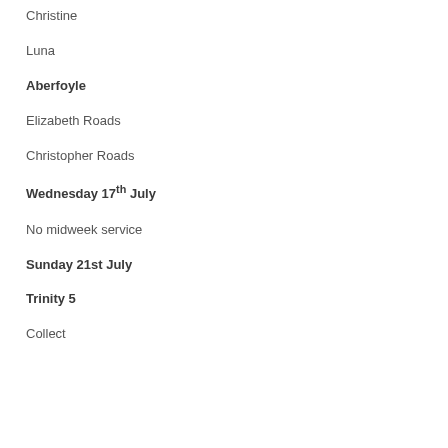Christine
Luna
Aberfoyle
Elizabeth Roads
Christopher Roads
Wednesday 17th July
No midweek service
Sunday 21st July
Trinity 5
Collect